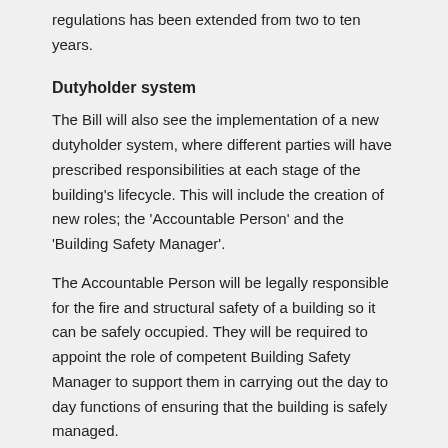regulations has been extended from two to ten years.
Dutyholder system
The Bill will also see the implementation of a new dutyholder system, where different parties will have prescribed responsibilities at each stage of the building's lifecycle. This will include the creation of new roles; the ‘Accountable Person’ and the ‘Building Safety Manager’.
The Accountable Person will be legally responsible for the fire and structural safety of a building so it can be safely occupied. They will be required to appoint the role of competent Building Safety Manager to support them in carrying out the day to day functions of ensuring that the building is safely managed.
Building Safety Charge
The new rules will see the implementation of a ‘Building Safety Charge’ for leaseholders, which will fund safety improvements within a building and will be separate to the service charge.